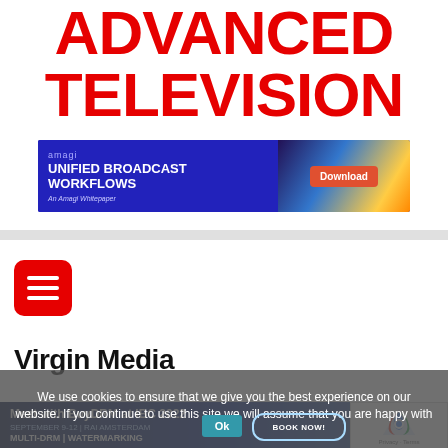ADVANCED TELEVISION
[Figure (other): Amagi advertisement banner: 'UNIFIED BROADCAST WORKFLOWS - An Amagi Whitepaper' with Download button, blue background with city lights imagery]
[Figure (other): Red rounded rectangle hamburger/menu button with three white horizontal lines]
Virgin Media
We use cookies to ensure that we give you the best experience on our website. If you continue to use this site we will assume that you are happy with it.
[Figure (other): BuyDRM advertisement: 'Meet with BuyDRM at IBC 2022, SEPTEMBER 9-12 | RAI AMSTERDAM, MULTI-DRM | WATERMARKING' with OK button and BOOK NOW! button]
[Figure (other): Google reCAPTCHA badge with logo and Privacy - Terms text]